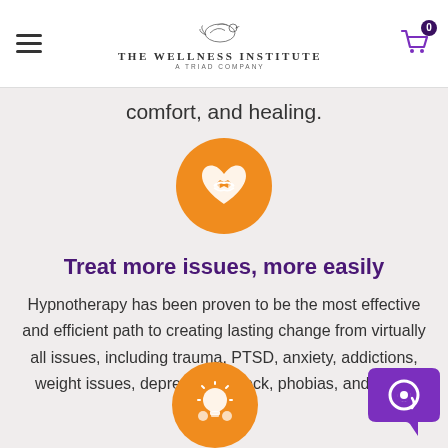The Wellness Institute — A Triad Company
comfort, and healing.
[Figure (illustration): Orange circle with white handshake/heart icon representing care and support]
Treat more issues, more easily
Hypnotherapy has been proven to be the most effective and efficient path to creating lasting change from virtually all issues, including trauma, PTSD, anxiety, addictions, weight issues, depression, shock, phobias, and many more.
[Figure (illustration): Orange circle with white light bulb / idea icon]
[Figure (illustration): Purple speech bubble chat icon in bottom right corner]